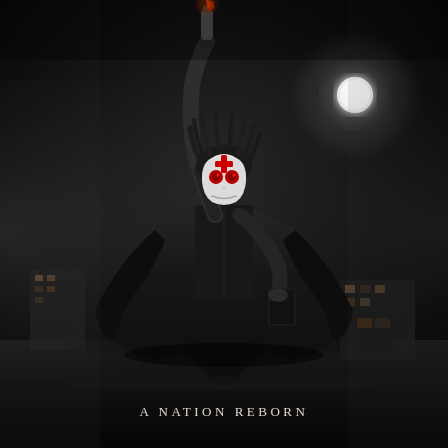[Figure (photo): Movie poster for 'The First Purge' or similar Purge franchise film. A dark, desaturated black-and-white scene shows a figure standing dramatically in the middle of a foggy street at night. The figure wears a white mask with a red cross and red circle eye details, dark dreadlocks, a black short-sleeved shirt, and a large dark cape/cloak. The left arm is raised high holding a Molotov cocktail or torch. The right arm holds a dark rectangular object (book or tablet). A bright full moon or street light glows in the upper right. Urban buildings with lights are faintly visible in the background through fog. The overall mood is menacing and cinematic.]
A NATION REBORN